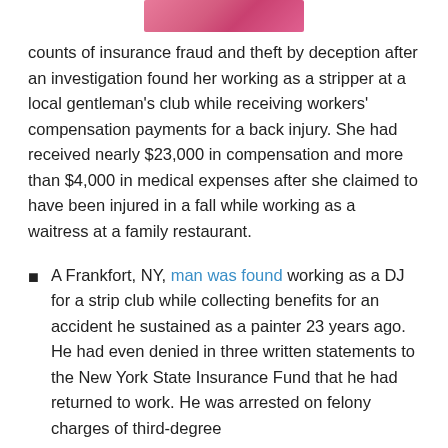[Figure (photo): Partial photo of a person wearing a pink top, cropped at top of page]
counts of insurance fraud and theft by deception after an investigation found her working as a stripper at a local gentleman's club while receiving workers' compensation payments for a back injury. She had received nearly $23,000 in compensation and more than $4,000 in medical expenses after she claimed to have been injured in a fall while working as a waitress at a family restaurant.
A Frankfort, NY, man was found working as a DJ for a strip club while collecting benefits for an accident he sustained as a painter 23 years ago. He had even denied in three written statements to the New York State Insurance Fund that he had returned to work. He was arrested on felony charges of third-degree